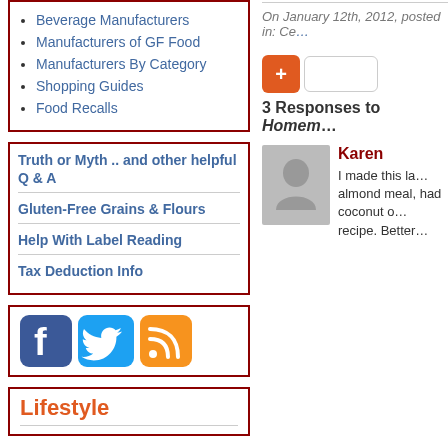Beverage Manufacturers
Manufacturers of GF Food
Manufacturers By Category
Shopping Guides
Food Recalls
Truth or Myth .. and other helpful Q & A
Gluten-Free Grains & Flours
Help With Label Reading
Tax Deduction Info
[Figure (screenshot): Social media icons: Facebook, Twitter, RSS feed]
Lifestyle
On January 12th, 2012, posted in: Ce...
3 Responses to Homem...
Karen
I made this la... almond meal, had coconut o... recipe. Better...